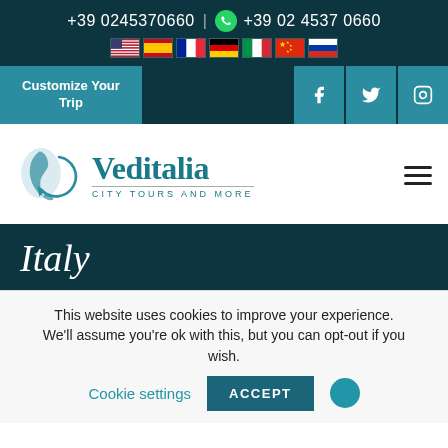+39 0245370660 | +39 02 4537 0660
[Figure (infographic): Row of country flag icons: USA, Spain, France, Germany, Italy, China, Russia]
Customize Your Trip
[Figure (logo): Veditalia City Tours and More logo with map of Italy graphic]
Italy
This website uses cookies to improve your experience. We'll assume you're ok with this, but you can opt-out if you wish.
Cookie settings   ACCEPT